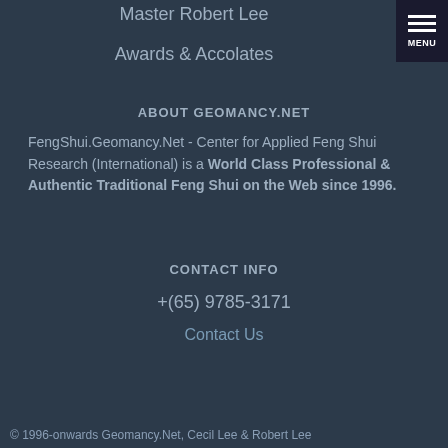Master Robert Lee
Awards & Accolates
ABOUT GEOMANCY.NET
FengShui.Geomancy.Net - Center for Applied Feng Shui Research (International) is a World Class Professional & Authentic Traditional Feng Shui on the Web since 1996.
CONTACT INFO
+(65) 9785-3171
Contact Us
© 1996-onwards Geomancy.Net, Cecil Lee & Robert Lee